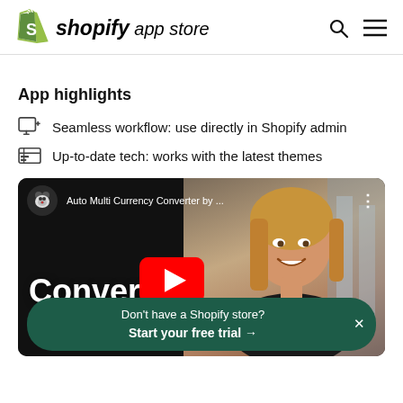shopify app store
App highlights
Seamless workflow: use directly in Shopify admin
Up-to-date tech: works with the latest themes
[Figure (screenshot): YouTube video thumbnail for 'Auto Multi Currency Converter by ...' showing a smiling woman on the right side and large text 'Converter' with a YouTube play button in the center-left area. A dark circular bear logo icon is visible in the top-left of the video. A green banner at the bottom reads 'Don't have a Shopify store? Start your free trial →' with an X close button.]